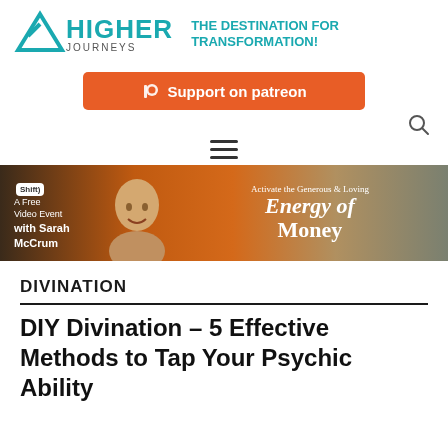[Figure (logo): Higher Journeys logo with teal mountain/arrow icon and text 'HIGHER JOURNEYS' alongside tagline 'THE DESTINATION FOR TRANSFORMATION!']
[Figure (other): Support on Patreon button in orange]
[Figure (other): Search icon (magnifying glass)]
[Figure (other): Hamburger menu icon (three horizontal lines)]
[Figure (other): Advertisement banner: Shift Network - A Free Video Event with Sarah McCrum - Activate the Generous & Loving Energy of Money]
DIVINATION
DIY Divination – 5 Effective Methods to Tap Your Psychic Ability